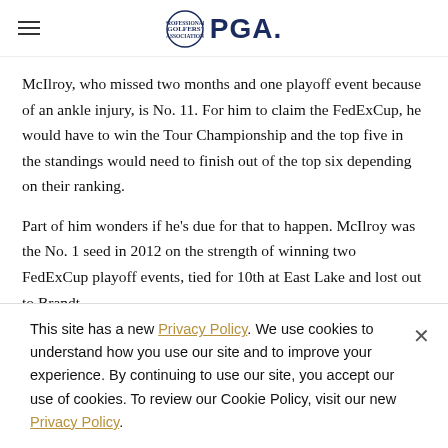PGA
McIlroy, who missed two months and one playoff event because of an ankle injury, is No. 11. For him to claim the FedExCup, he would have to win the Tour Championship and the top five in the standings would need to finish out of the top six depending on their ranking.
Part of him wonders if he's due for that to happen. McIlroy was the No. 1 seed in 2012 on the strength of winning two FedExCup playoff events, tied for 10th at East Lake and lost out to Brandt...
This site has a new Privacy Policy. We use cookies to understand how you use our site and to improve your experience. By continuing to use our site, you accept our use of cookies. To review our Cookie Policy, visit our new Privacy Policy.